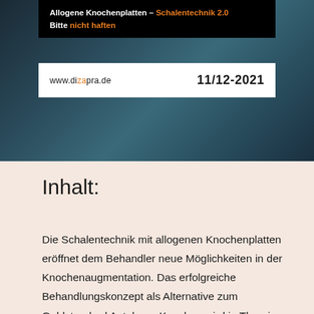Allogene Knochenplatten – Schalentechnik 2.0
Bitte nicht haften
www.dizapra.de   11/12-2021
Inhalt:
Die Schalentechnik mit allogenen Knochenplatten eröffnet dem Behandler neue Möglichkeiten in der Knochenaugmentation. Das erfolgreiche Behandlungskonzept als Alternative zum Goldstandard Autologer Knochen wird in Theorie und mit klinischen Praxisbeispielen anhand